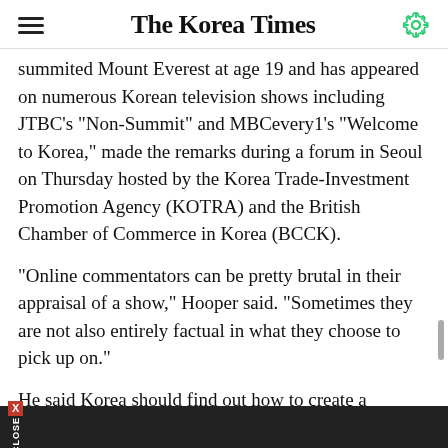The Korea Times
summited Mount Everest at age 19 and has appeared on numerous Korean television shows including JTBC's "Non-Summit" and MBCevery1's "Welcome to Korea," made the remarks during a forum in Seoul on Thursday hosted by the Korea Trade-Investment Promotion Agency (KOTRA) and the British Chamber of Commerce in Korea (BCCK).
"Online commentators can be pretty brutal in their appraisal of a show," Hooper said. "Sometimes they are not also entirely factual in what they choose to pick up on."
He said Korea should find out how to create a positive